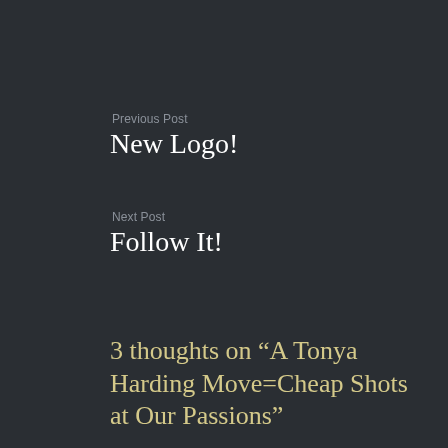Previous Post
New Logo!
Next Post
Follow It!
3 thoughts on “A Tonya Harding Move=Cheap Shots at Our Passions”